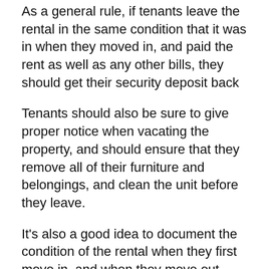As a general rule, if tenants leave the rental in the same condition that it was in when they moved in, and paid the rent as well as any other bills, they should get their security deposit back
Tenants should also be sure to give proper notice when vacating the property, and should ensure that they remove all of their furniture and belongings, and clean the unit before they leave.
It’s also a good idea to document the condition of the rental when they first move in, and when they move out.
Document the condition of the